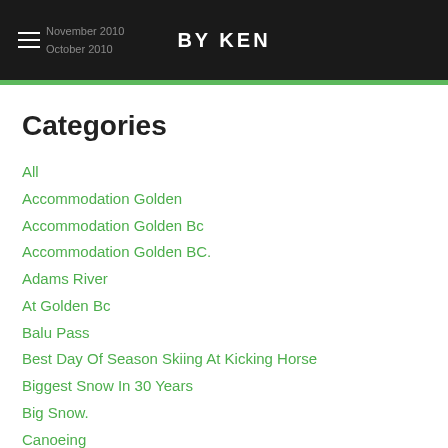BY KEN
Categories
All
Accommodation Golden
Accommodation Golden Bc
Accommodation Golden BC.
Adams River
At Golden Bc
Balu Pass
Best Day Of Season Skiing At Kicking Horse
Biggest Snow In 30 Years
Big Snow.
Canoeing
Cross Country Skiing
Earthwater